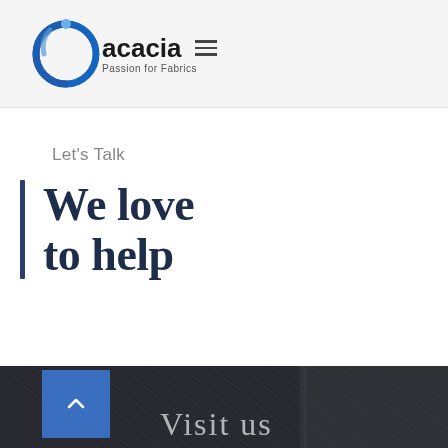acacia — Passion for Fabrics
Let's Talk
We love to help
[Figure (screenshot): Dark section with fabric texture background and 'Visit us' text in light color]
Visit us